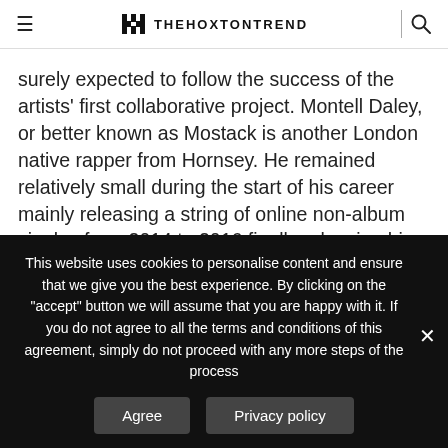THEHOXTONTREND
surely expected to follow the success of the artists' first collaborative project. Montell Daley, or better known as Mostack is another London native rapper from Hornsey. He remained relatively small during the start of his career mainly releasing a string of online non-album singles from 2014 to 2016 finally releasing his released mixtape, High Street Kid in 2017 which debuted at number 16 on the Uk albums chart. His first studio album didn't come until two years later where it debuted at number 3 on the UK albums chart in 2019. Mostack is also
This website uses cookies to personalise content and ensure that we give you the best experience. By clicking on the "accept" button we will assume that you are happy with it. If you do not agree to all the terms and conditions of this agreement, simply do not proceed with any more steps of the process